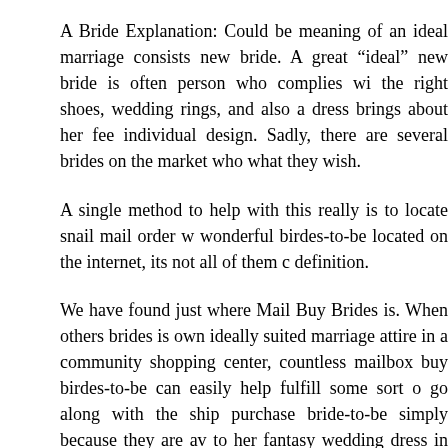A Bride Explanation: Could be meaning of an ideal marriage consists new bride. A great “ideal” new bride is often person who complies wi the right shoes, wedding rings, and also a dress brings about her fee individual design. Sadly, there are several brides on the market who what they wish.
A single method to help with this really is to locate snail mail order w wonderful birdes-to-be located on the internet, its not all of them c definition.
We have found just where Mail Buy Brides is. When others brides is own ideally suited marriage attire in a community shopping center, countless mailbox buy birdes-to-be can easily help fulfill some sort o go along with the ship purchase bride-to-be simply because they are av to her fantasy wedding dress in addition to artist wedding gown at any
Therefore , how does one discover international brides? The easiest online world. Basically log onto the net plus key in what “mail purch will probably quickly go to a set of possible wedding brides who